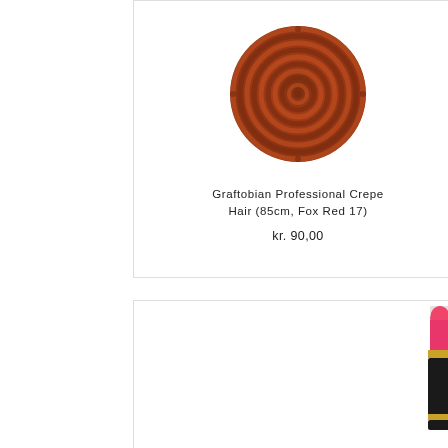[Figure (photo): Circular braided jute/rope coaster in Fox Red/rust brown color, viewed from above, showing spiral braided pattern]
Graftobian Professional Crepe Hair (85cm, Fox Red 17)
kr. 90,00
[Figure (photo): Pink lipstick in a black and gold case, partially visible at the right edge of the lower product card]